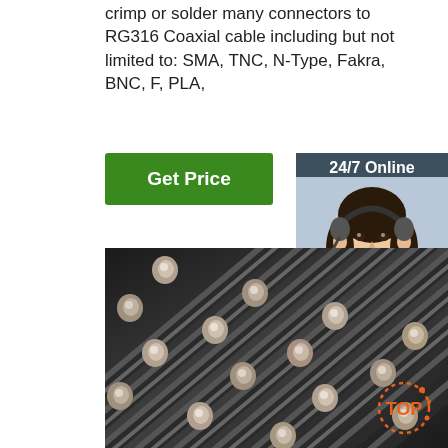crimp or solder many connectors to RG316 Coaxial cable including but not limited to: SMA, TNC, N-Type, Fakra, BNC, F, PLA,
[Figure (other): Green button labeled 'Get Price']
[Figure (other): Sidebar showing '24/7 Online' text, customer service representative photo wearing headset, 'Click here for free chat!' text, and orange 'QUOTATION' button]
[Figure (photo): Close-up photograph of many metallic rods/cables (steel or aluminum bars) arranged diagonally, showing their circular cross-section ends]
[Figure (logo): Orange circular dotted 'TOP' badge in bottom right corner]